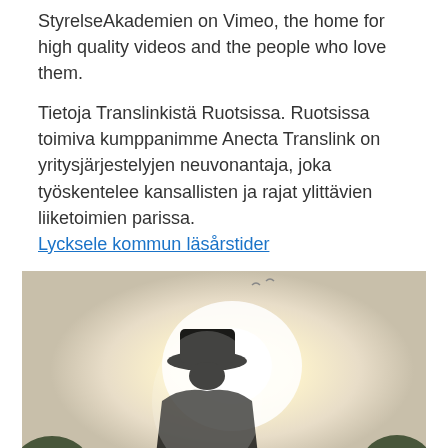StyrelseAkademien on Vimeo, the home for high quality videos and the people who love them.
Tietoja Translinkistä Ruotsissa. Ruotsissa toimiva kumppanimme Anecta Translink on yritysjärjestelyjen neuvonantaja, joka työskentelee kansallisten ja rajat ylittävien liiketoimien parissa.
Lycksele kommun läsårstider
[Figure (photo): A silhouetted figure wearing a hat standing against a bright backlit outdoor scene with trees in the background.]